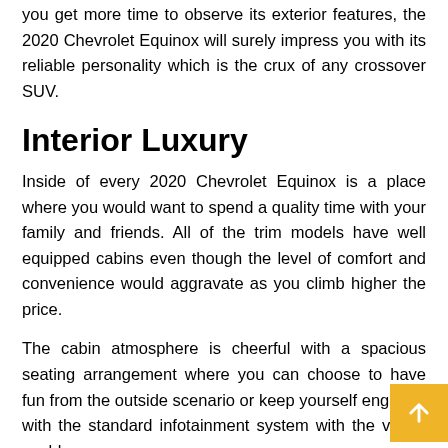you get more time to observe its exterior features, the 2020 Chevrolet Equinox will surely impress you with its reliable personality which is the crux of any crossover SUV.
Interior Luxury
Inside of every 2020 Chevrolet Equinox is a place where you would want to spend a quality time with your family and friends. All of the trim models have well equipped cabins even though the level of comfort and convenience would aggravate as you climb higher the price.
The cabin atmosphere is cheerful with a spacious seating arrangement where you can choose to have fun from the outside scenario or keep yourself engaged with the standard infotainment system with the virtual world.
Powering your Equinox